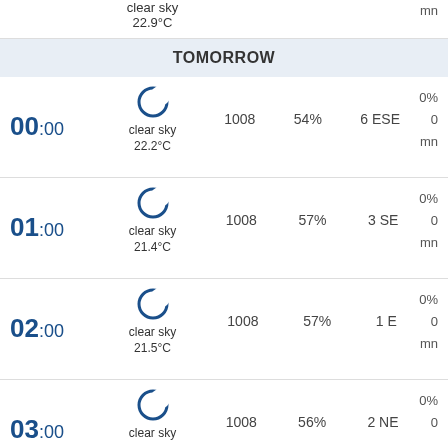clear sky
22.9°C
TOMORROW
| Time | Icon/Desc | Pressure | Humidity | Wind | Rain% | Rain | Unit |
| --- | --- | --- | --- | --- | --- | --- | --- |
| 00:00 | clear sky 22.2°C | 1008 | 54% | 6 ESE | 0% | 0 | mn |
| 01:00 | clear sky 21.4°C | 1008 | 57% | 3 SE | 0% | 0 | mn |
| 02:00 | clear sky 21.5°C | 1008 | 57% | 1 E | 0% | 0 | mn |
| 03:00 | clear sky | 1008 | 56% | 2 NE | 0% | 0 |  |